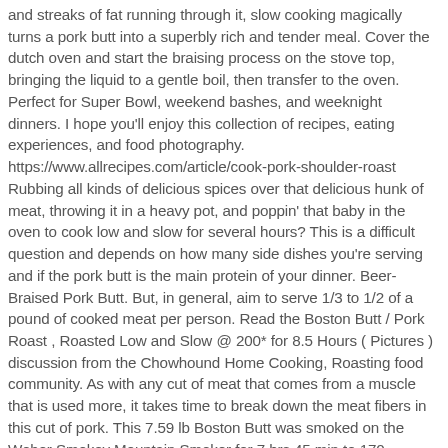and streaks of fat running through it, slow cooking magically turns a pork butt into a superbly rich and tender meal. Cover the dutch oven and start the braising process on the stove top, bringing the liquid to a gentle boil, then transfer to the oven. Perfect for Super Bowl, weekend bashes, and weeknight dinners. I hope you'll enjoy this collection of recipes, eating experiences, and food photography. https://www.allrecipes.com/article/cook-pork-shoulder-roast Rubbing all kinds of delicious spices over that delicious hunk of meat, throwing it in a heavy pot, and poppin' that baby in the oven to cook low and slow for several hours? This is a difficult question and depends on how many side dishes you're serving and if the pork butt is the main protein of your dinner. Beer-Braised Pork Butt. But, in general, aim to serve 1/3 to 1/2 of a pound of cooked meat per person. Read the Boston Butt / Pork Roast , Roasted Low and Slow @ 200* for 8.5 Hours ( Pictures ) discussion from the Chowhound Home Cooking, Roasting food community. As with any cut of meat that comes from a muscle that is used more, it takes time to break down the meat fibers in this cut of pork. This 7.59 lb Boston Butt was smoked on the Weber Smokey Mountain Smoker for 7 hrs 45 min to 170 degrees. Jamaican jerk spice adds depth and character to this simple roast. Step 2. If you have too many leftovers, you can freeze the pork in airtight freezer bags for up to three months. It is the most...